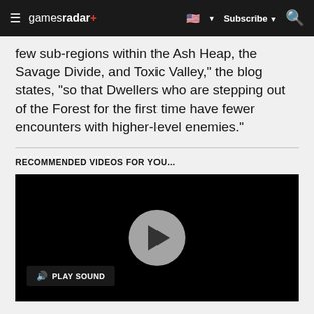gamesradar+ | Subscribe | Search
few sub-regions within the Ash Heap, the Savage Divide, and Toxic Valley," the blog states, "so that Dwellers who are stepping out of the Forest for the first time have fewer encounters with higher-level enemies."
RECOMMENDED VIDEOS FOR YOU...
[Figure (screenshot): Embedded video player with black background, a circular play button in the center, and a 'PLAY SOUND' button in the lower left corner.]